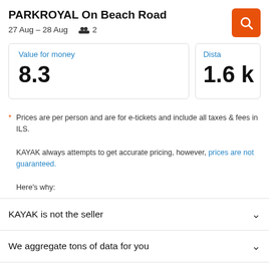PARKROYAL On Beach Road
27 Aug – 28 Aug   2
Value for money
8.3
Dista
1.6 k
* Prices are per person and are for e-tickets and include all taxes & fees in ILS.
KAYAK always attempts to get accurate pricing, however, prices are not guaranteed.
Here's why:
KAYAK is not the seller
We aggregate tons of data for you
Why aren't prices 100% accurate?